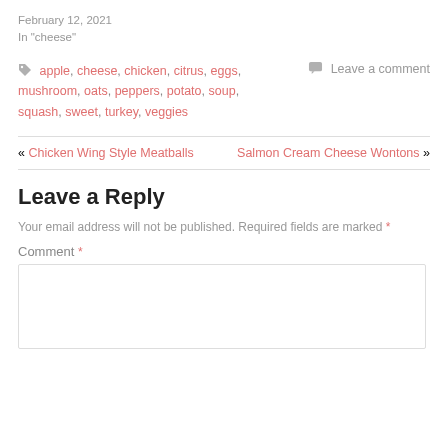February 12, 2021
In "cheese"
apple, cheese, chicken, citrus, eggs, mushroom, oats, peppers, potato, soup, squash, sweet, turkey, veggies
Leave a comment
« Chicken Wing Style Meatballs   Salmon Cream Cheese Wontons »
Leave a Reply
Your email address will not be published. Required fields are marked *
Comment *